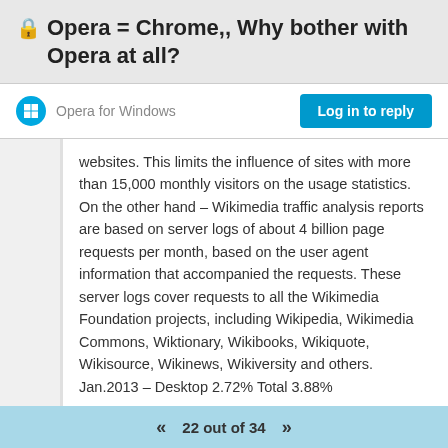🔒Opera = Chrome,, Why bother with Opera at all?
Opera for Windows
Log in to reply
websites. This limits the influence of sites with more than 15,000 monthly visitors on the usage statistics.
On the other hand – Wikimedia traffic analysis reports are based on server logs of about 4 billion page requests per month, based on the user agent information that accompanied the requests. These server logs cover requests to all the Wikimedia Foundation projects, including Wikipedia, Wikimedia Commons, Wiktionary, Wikibooks, Wikiquote, Wikisource, Wikinews, Wikiversity and others.
Jan.2013 – Desktop 2.72% Total 3.88%
22 out of 34